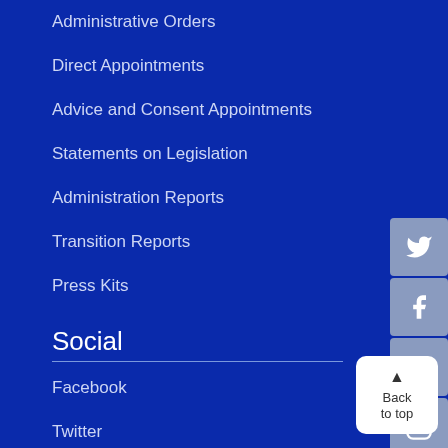Administrative Orders
Direct Appointments
Advice and Consent Appointments
Statements on Legislation
Administration Reports
Transition Reports
Press Kits
Social
Facebook
Twitter
Instagram
Snapchat
YouTube
TikTok